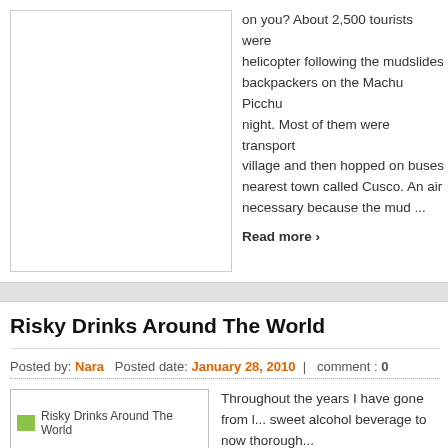[Figure (photo): Empty white image box placeholder on left side of top article]
on you? About 2,500 tourists were ... helicopter following the mudslides ... backpackers on the Machu Picchu ... night. Most of them were transport ... village and then hopped on buses ... nearest town called Cusco. An air ... necessary because the mud ...
Read more ›
Risky Drinks Around The World
Posted by: Nara   Posted date: January 28, 2010  |  comment : 0
[Figure (photo): Risky Drinks Around The World thumbnail image]
Throughout the years I have gone from l... sweet alcohol beverage to now thorough... of red wine. Over the years I guess my taste buds have definitely changed, but a... about calorie intake and how dangerous certain drinks can be. So I went wander... find the most risky drinks around the world. Now a few of these drinks I have hea... bac ...
Read more ›